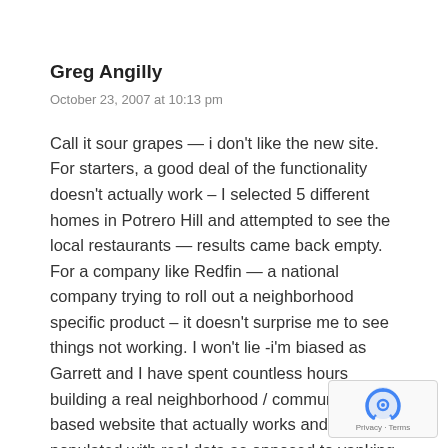Greg Angilly
October 23, 2007 at 10:13 pm
Call it sour grapes — i don't like the new site. For starters, a good deal of the functionality doesn't actually work – I selected 5 different homes in Potrero Hill and attempted to see the local restaurants — results came back empty. For a company like Redfin — a national company trying to roll out a neighborhood specific product – it doesn't surprise me to see things not working. I won't lie -i'm biased as Garrett and I have spent countless hours building a real neighborhood / community based website that actually works and was populated with real data as opposed to yanking reviews from a 3rd party provider.
[Figure (logo): Google reCAPTCHA badge with Privacy and Terms links]